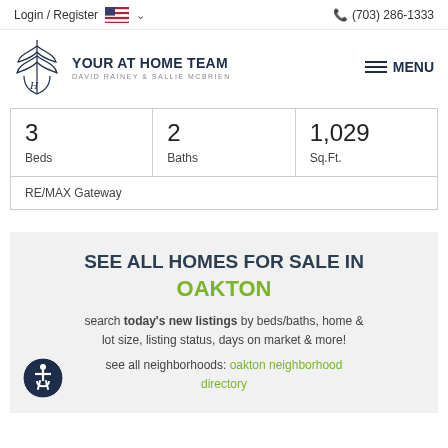Login / Register  🇺🇸 ∨   (703) 286-1333
[Figure (logo): Your At Home Team logo with stylized plant/monogram icon, text YOUR AT HOME TEAM, DAVID RAINEY & SALLIE MCBRIEN]
| Beds | Baths | Sq.Ft. |
| --- | --- | --- |
| 3 | 2 | 1,029 |
RE/MAX Gateway
SEE ALL HOMES FOR SALE IN OAKTON
search today's new listings by beds/baths, home & lot size, listing status, days on market & more!
see all neighborhoods: oakton neighborhood directory